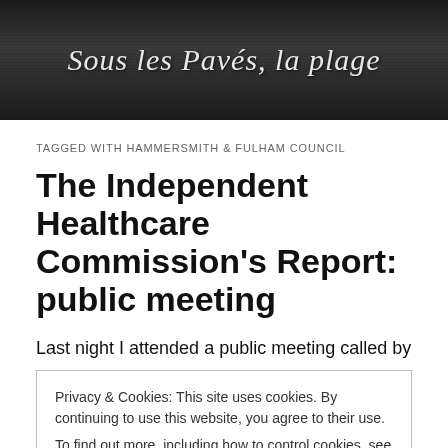[Figure (photo): Black and white banner photograph with handwritten/graffiti text reading 'Sous les Pavés, la plage' with silhouettes of people]
TAGGED WITH HAMMERSMITH & FULHAM COUNCIL
The Independent Healthcare Commission's Report: public meeting
Last night I attended a public meeting called by
Privacy & Cookies: This site uses cookies. By continuing to use this website, you agree to their use.
To find out more, including how to control cookies, see here: Cookie Policy
Close and accept